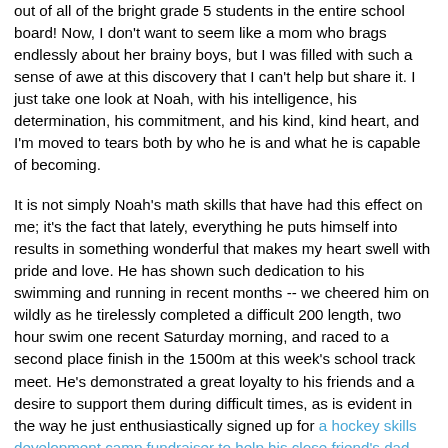out of all of the bright grade 5 students in the entire school board!  Now, I don't want to seem like a mom who brags endlessly about her brainy boys, but I was filled with such a sense of awe at this discovery that I can't help but share it.  I just take one look at Noah, with his intelligence, his determination, his commitment, and his kind, kind heart, and I'm moved to tears both by who he is and what he is capable of becoming.

It is not simply Noah's math skills that have had this effect on me; it's the fact that lately, everything he puts himself into results in something wonderful that makes my heart swell with pride and love.  He has shown such dedication to his swimming and running in recent months -- we cheered him on wildly as he tirelessly completed a difficult 200 length, two hour swim one recent Saturday morning, and raced to a second place finish in the 1500m at this week's school track meet.  He's demonstrated a great loyalty to his friends and a desire to support them during difficult times, as is evident in the way he just enthusiastically signed up for a hockey skills development camp fundraiser to help his close friend's dad, when he's never played organized hockey a day in his life. He has also an amazing it for charity beautifully from